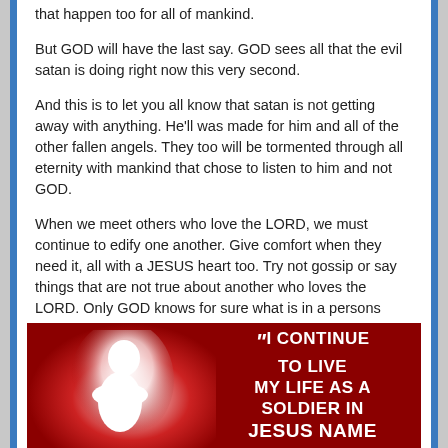that happen too for all of mankind.
But GOD will have the last say. GOD sees all that the evil satan is doing right now this very second.
And this is to let you all know that satan is not getting away with anything. He'll was made for him and all of the other fallen angels. They too will be tormented through all eternity with mankind that chose to listen to him and not GOD.
When we meet others who love the LORD, we must continue to edify one another. Give comfort when they need it, all with a JESUS heart too. Try not gossip or say things that are not true about another who loves the LORD. Only GOD knows for sure what is in a persons heart. We all must stay fast to holding onto to JESUS at all times.
[Figure (illustration): Dark red background image with a glowing white silhouette of a person praying/kneeling on the left side, and white bold text on the right reading: "I CONTINUE TO LIVE MY LIFE AS A SOLDIER IN JESUS NAME"]